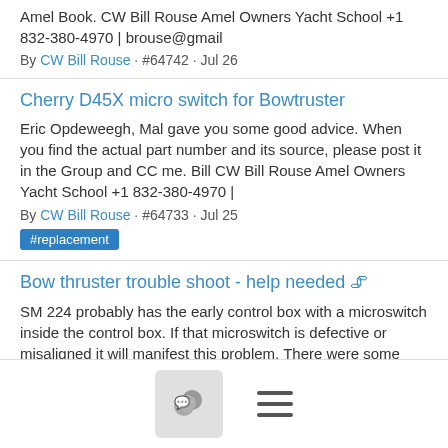Amel Book. CW Bill Rouse Amel Owners Yacht School +1 832-380-4970 | brouse@gmail
By CW Bill Rouse · #64742 · Jul 26
Cherry D45X micro switch for Bowtruster
Eric Opdeweegh, Mal gave you some good advice. When you find the actual part number and its source, please post it in the Group and CC me. Bill CW Bill Rouse Amel Owners Yacht School +1 832-380-4970 |
By CW Bill Rouse · #64733 · Jul 25
#replacement
Bow thruster trouble shoot - help needed 📎
SM 224 probably has the early control box with a microswitch inside the control box. If that microswitch is defective or misaligned it will manifest this problem. There were some really good photos po
By CW Bill Rouse · #64731 · Jul 25
Mast lights for A54
[Figure (other): Bottom navigation bar with chat icon button and hamburger menu icon]